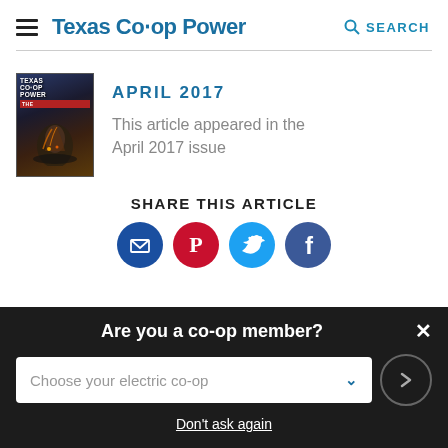Texas Co-op Power  SEARCH
[Figure (screenshot): Magazine cover of Texas Co-op Power April 2017 issue showing a person working with fire/sparks in a dark setting]
APRIL 2017
This article appeared in the April 2017 issue
SHARE THIS ARTICLE
[Figure (infographic): Four social media sharing icons: email (dark blue), Pinterest (red), Twitter (light blue), Facebook (dark blue)]
Are you a co-op member?
Choose your electric co-op
Don't ask again